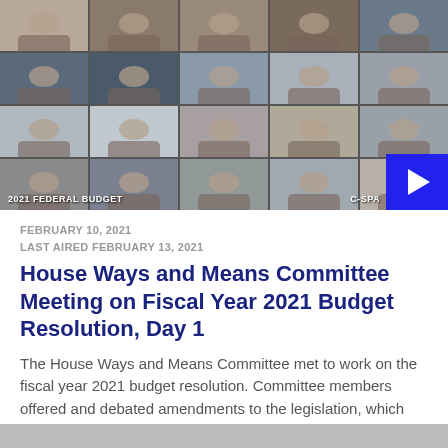[Figure (screenshot): C-SPAN video thumbnail showing a virtual committee meeting with 20 video grid participants. Overlay text reads '2021 FEDERAL BUDGET' and 'C-SPA' (C-SPAN logo). A blue play button is in the bottom-right corner.]
FEBRUARY 10, 2021
LAST AIRED FEBRUARY 13, 2021
House Ways and Means Committee Meeting on Fiscal Year 2021 Budget Resolution, Day 1
The House Ways and Means Committee met to work on the fiscal year 2021 budget resolution. Committee members offered and debated amendments to the legislation, which was serving as the vehicle for...
333 VIEWS